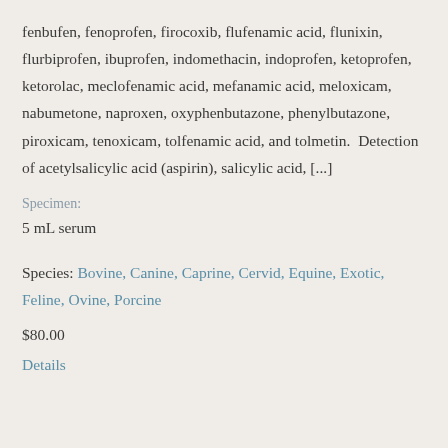fenbufen, fenoprofen, firocoxib, flufenamic acid, flunixin, flurbiprofen, ibuprofen, indomethacin, indoprofen, ketoprofen, ketorolac, meclofenamic acid, mefanamic acid, meloxicam, nabumetone, naproxen, oxyphenbutazone, phenylbutazone, piroxicam, tenoxicam, tolfenamic acid, and tolmetin.  Detection of acetylsalicylic acid (aspirin), salicylic acid, [...]
Specimen:
5 mL serum
Species: Bovine, Canine, Caprine, Cervid, Equine, Exotic, Feline, Ovine, Porcine
$80.00
Details